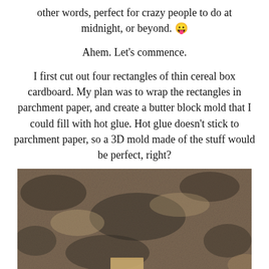other words, perfect for crazy people to do at midnight, or beyond. 😛
Ahem. Let's commence.
I first cut out four rectangles of thin cereal box cardboard. My plan was to wrap the rectangles in parchment paper, and create a butter block mold that I could fill with hot glue. Hot glue doesn't stick to parchment paper, so a 3D mold made of the stuff would be perfect, right?
[Figure (photo): A granite countertop with a small piece of cardboard visible at the bottom, photographed at night.]